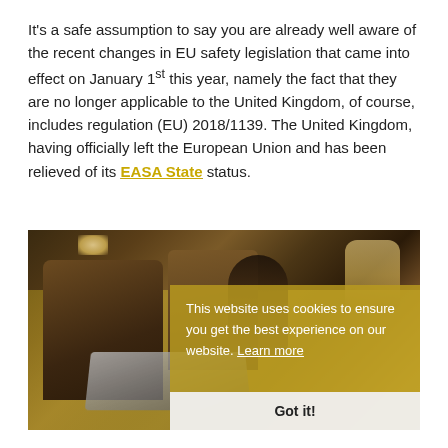It's a safe assumption to say you are already well aware of the recent changes in EU safety legislation that came into effect on January 1st this year, namely the fact that they are no longer applicable to the United Kingdom, of course, includes regulation (EU) 2018/1139. The United Kingdom, having officially left the European Union and has been relieved of its EASA State status.
[Figure (photo): Photo of a man working on a laptop inside a private jet cabin with leather seats, warm golden interior lighting, and a window visible]
This website uses cookies to ensure you get the best experience on our website. Learn more
Got it!